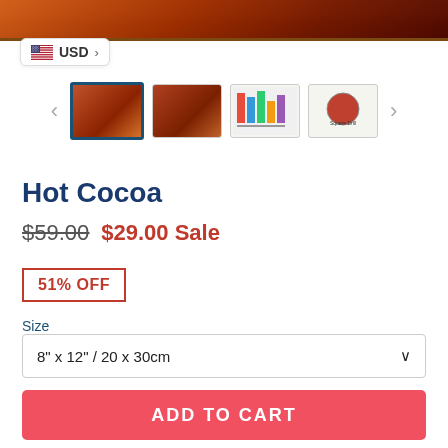[Figure (photo): Top portion of a hot cocoa holiday product image with warm red and brown tones]
USD >
[Figure (photo): Thumbnail strip showing four product images: selected framed hot cocoa painting, hot cocoa close-up, color reference chart, and circular diamond painting preview]
Hot Cocoa
$59.00  $29.00 Sale
51% OFF
Size
8" x 12" / 20 x 30cm
ADD TO CART